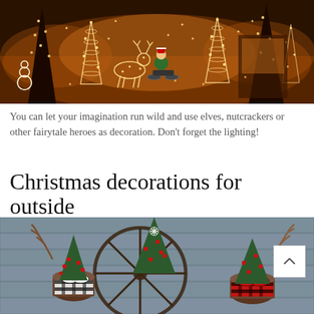[Figure (photo): Outdoor Christmas light display at night showing illuminated wire-frame reindeer, spiral light trees, snowman figures, and a character on a motorcycle, all in warm golden lights against a dark background with trees lit up behind.]
You can let your imagination run wild and use elves, nutcrackers or other fairytale heroes as decoration. Don’t forget the lighting!
Christmas decorations for outside
[Figure (photo): Outdoor Christmas porch decoration showing small evergreen trees with red berries in rustic pots, decorated with buffalo plaid ribbons (black and white, and red and black), arranged around a large wagon wheel against a blue-gray wood plank wall.]